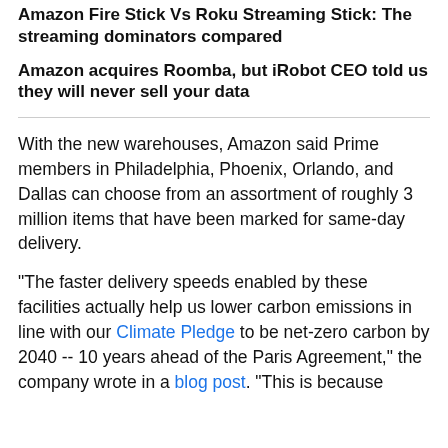Amazon Fire Stick Vs Roku Streaming Stick: The streaming dominators compared
Amazon acquires Roomba, but iRobot CEO told us they will never sell your data
With the new warehouses, Amazon said Prime members in Philadelphia, Phoenix, Orlando, and Dallas can choose from an assortment of roughly 3 million items that have been marked for same-day delivery.
"The faster delivery speeds enabled by these facilities actually help us lower carbon emissions in line with our Climate Pledge to be net-zero carbon by 2040 -- 10 years ahead of the Paris Agreement," the company wrote in a blog post. "This is because